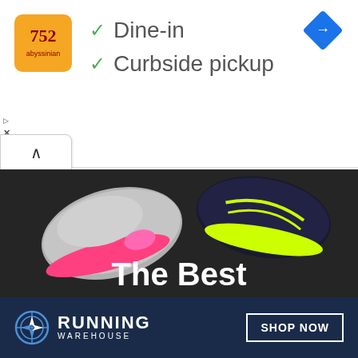[Figure (logo): Restaurant logo — orange square with stylized fork/spoon icon and text]
✓ Dine-in
✓ Curbside pickup
[Figure (logo): Blue diamond navigation arrow icon (Google Maps style)]
[Figure (photo): Advertisement for Running Warehouse showing running shoes from above on dark floor with text 'The Best Running Gear — Fast, Free Shipping & Easy, Free Returns']
The Best Running Gear
Fast, Free Shipping & Easy, Free Returns
[Figure (logo): Running Warehouse compass logo and brand name in white on navy background with SHOP NOW button]